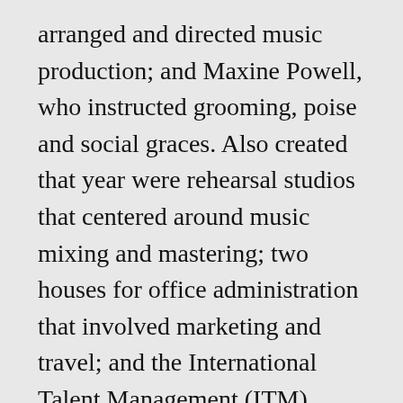arranged and directed music production; and Maxine Powell, who instructed grooming, poise and social graces. Also created that year were rehearsal studios that centered around music mixing and mastering; two houses for office administration that involved marketing and travel; and the International Talent Management (ITM) office.  At the end of 1966, over four hundred and fifty persons were employed by Motown, which earned a gross income of twenty million (USD).